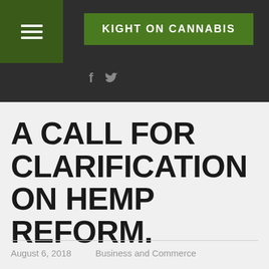KIGHT ON CANNABIS
A CALL FOR CLARIFICATION ON HEMP REFORM.
August 6, 2018    Business and Commerce